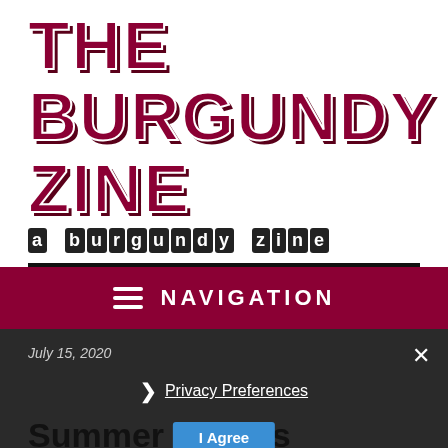THE BURGUNDY ZINE
a burgundy zine
NAVIGATION
July 15, 2020
Privacy Preferences
Summer Storms
I Agree